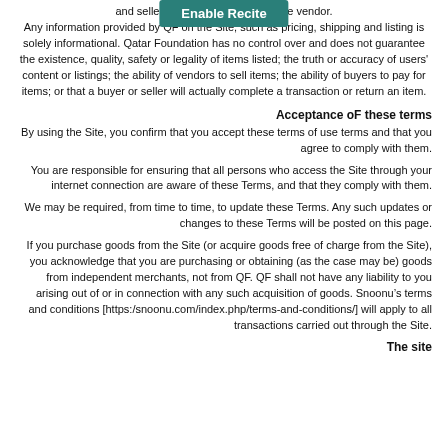and sellers on the Site; QF is not the vendor. Any information provided by QF on the Site, such as pricing, shipping and listing is solely informational. Qatar Foundation has no control over and does not guarantee the existence, quality, safety or legality of items listed; the truth or accuracy of users' content or listings; the ability of vendors to sell items; the ability of buyers to pay for items; or that a buyer or seller will actually complete a transaction or return an item.
Acceptance oF these terms
By using the Site, you confirm that you accept these terms of use terms and that you agree to comply with them.
You are responsible for ensuring that all persons who access the Site through your internet connection are aware of these Terms, and that they comply with them.
We may be required, from time to time, to update these Terms. Any such updates or changes to these Terms will be posted on this page.
If you purchase goods from the Site (or acquire goods free of charge from the Site), you acknowledge that you are purchasing or obtaining (as the case may be) goods from independent merchants, not from QF. QF shall not have any liability to you arising out of or in connection with any such acquisition of goods. Snoonu’s terms and conditions [https:/snoonu.com/index.php/terms-and-conditions/] will apply to all transactions carried out through the Site.
The site